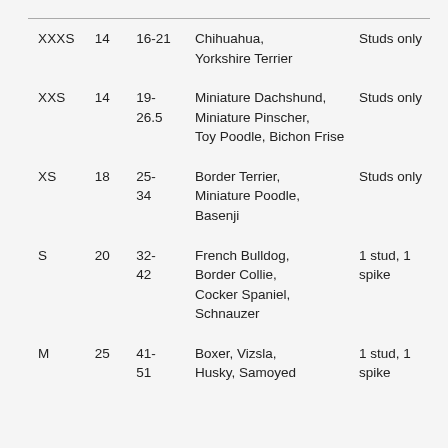| XXXS | 14 | 16-21 | Chihuahua, Yorkshire Terrier | Studs only |
| XXS | 14 | 19-26.5 | Miniature Dachshund, Miniature Pinscher, Toy Poodle, Bichon Frise | Studs only |
| XS | 18 | 25-34 | Border Terrier, Miniature Poodle, Basenji | Studs only |
| S | 20 | 32-42 | French Bulldog, Border Collie, Cocker Spaniel, Schnauzer | 1 stud, 1 spike |
| M | 25 | 41-51 | Boxer, Vizsla, Husky, Samoyed | 1 stud, 1 spike |